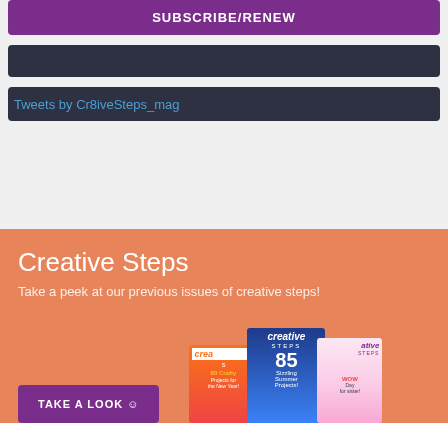SUBSCRIBE/RENEW
[Figure (other): Dark navigation bar]
Tweets by Cr8iveSteps_mag
Creative Steps
Take a peek at our previous issues of creative steps!
TAKE A LOOK ☺
[Figure (photo): Three Creative Steps magazine covers showing children and crafts]